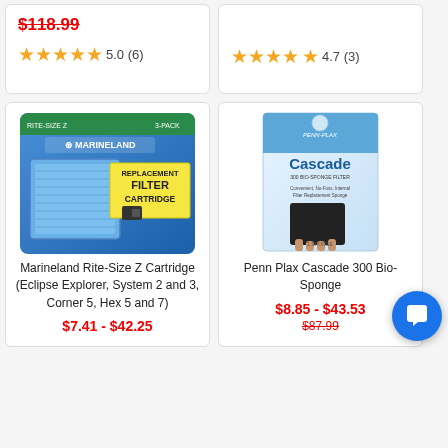$118.99 (strikethrough)
5.0 (6) stars
4.7 (3) stars
[Figure (photo): Marineland Rite-Size Z Replacement Filter Cartridge 3-pack product image]
Marineland Rite-Size Z Cartridge (Eclipse Explorer, System 2 and 3, Corner 5, Hex 5 and 7)
$7.41 - $42.25
[Figure (photo): Penn Plax Cascade 300 Bio-Sponge product image]
Penn Plax Cascade 300 Bio-Sponge
$8.85 - $43.53
$87.99 (strikethrough)